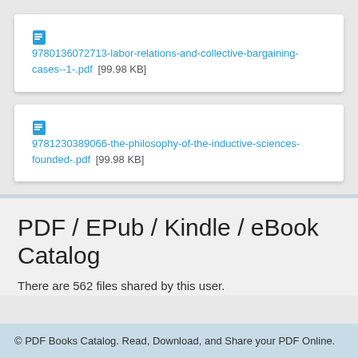9780136072713-labor-relations-and-collective-bargaining-cases--1-.pdf [99.98 KB]
9781230389066-the-philosophy-of-the-inductive-sciences-founded-.pdf [99.98 KB]
PDF / EPub / Kindle / eBook Catalog
There are 562 files shared by this user.
© PDF Books Catalog. Read, Download, and Share your PDF Online.